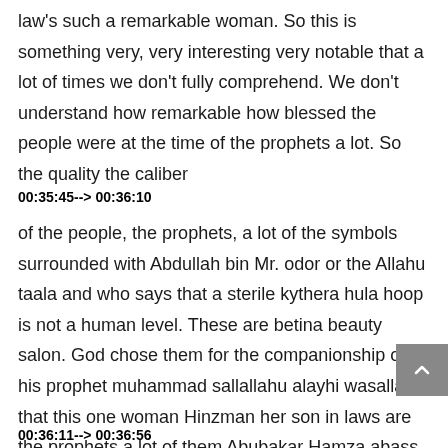law's such a remarkable woman. So this is something very, very interesting very notable that a lot of times we don't fully comprehend. We don't understand how remarkable how blessed the people were at the time of the prophets a lot. So the quality the caliber
00:35:45--> 00:36:10
of the people, the prophets, a lot of the symbols surrounded with Abdullah bin Mr. odor or the Allahu taala and who says that a sterile kythera hula hoop is not a human level. These are betina beauty salon. God chose them for the companionship of his prophet muhammad sallallahu alayhi wasallam that this one woman Hinzman her son in laws are the prophets a lot of them Abubakar Hamza abass, Jaffer, Ali, radi Allahu taala, an homage marry
00:36:11--> 00:36:56